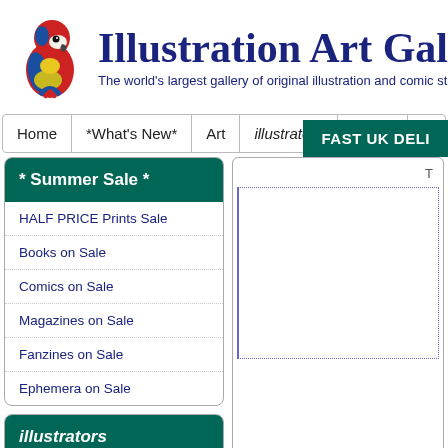[Figure (logo): Red and yellow macaw parrot illustration used as site logo]
Illustration Art Galle
The world's largest gallery of original illustration and comic st
FAST UK DELI
Home | *What's New* | Art | illustrators | Books | Comics & E
* Summer Sale *
HALF PRICE Prints Sale
Books on Sale
Comics on Sale
Magazines on Sale
Fanzines on Sale
Ephemera on Sale
illustrators